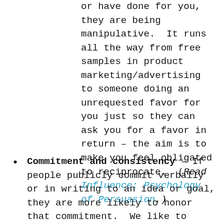or have done for you, they are being manipulative.  It runs all the way from free samples in product marketing/advertising to someone doing an unrequested favor for you just so they can ask you for a favor in return – the aim is to make you feel obligated to reciprocate.  (Read Influence: Psychology of Persuasion.)
Commitment and consistency – If people publicly commit verbally or in writing to an idea or goal, they are more likely to honor that commitment.  We like to appear consistent and dependable to both ourselves and others (think of the disapproval heaped upon